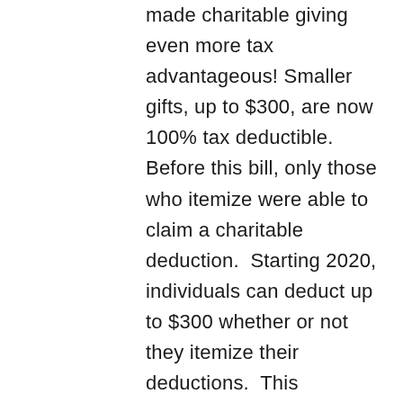made charitable giving even more tax advantageous! Smaller gifts, up to $300, are now 100% tax deductible.  Before this bill, only those who itemize were able to claim a charitable deduction.  Starting 2020, individuals can deduct up to $300 whether or not they itemize their deductions.  This deduction can be used for contributions of cash, credit card and checks (not stock).  Larger gift deduction is raised up to 100%.  Before this bill passed, individuals could deduct up to 60% of their adjusted gross income (AGI) for charitable deductions of cash (not stock).  The bill allows individuals to deduct it up to 100% of their AGI for 2020.  This is helpful for indivudals making major gift donations